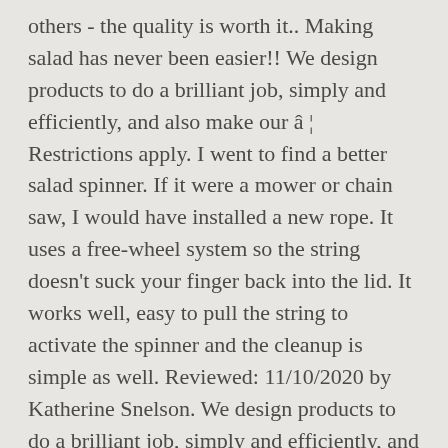others - the quality is worth it.. Making salad has never been easier!! We design products to do a brilliant job, simply and efficiently, and also make our â¦ Restrictions apply. I went to find a better salad spinner. If it were a mower or chain saw, I would have installed a new rope. It uses a free-wheel system so the string doesn't suck your finger back into the lid. It works well, easy to pull the string to activate the spinner and the cleanup is simple as well. Reviewed: 11/10/2020 by Katherine Snelson. We design products to do a brilliant job, simply and efficiently, and also make our customers smile every time they use them. The Zyliss Susi garlic press was a world wide best seller for over 30 years. The perfect pan for every chef